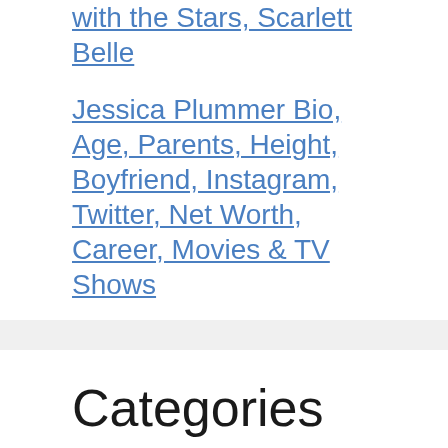with the Stars, Scarlett Belle
Jessica Plummer Bio, Age, Parents, Height, Boyfriend, Instagram, Twitter, Net Worth, Career, Movies & TV Shows
Categories
Activists
Actors
Actresses
Artists
Authors